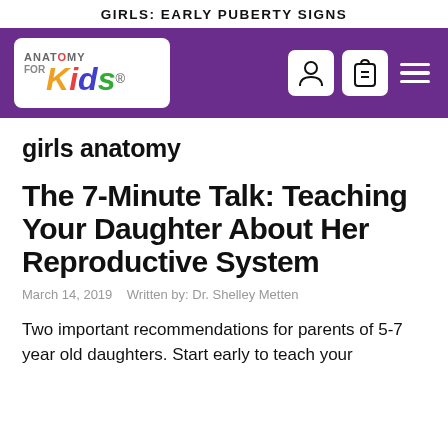GIRLS: EARLY PUBERTY SIGNS
[Figure (logo): Anatomy for Kids logo — colorful stylized text logo with orange K, red i, blue d, green s in italic on white rounded rectangle]
girls anatomy
The 7-Minute Talk: Teaching Your Daughter About Her Reproductive System
March 14, 2019   Written by: Dr. Shelley Metten
Two important recommendations for parents of 5-7 year old daughters. Start early to teach your